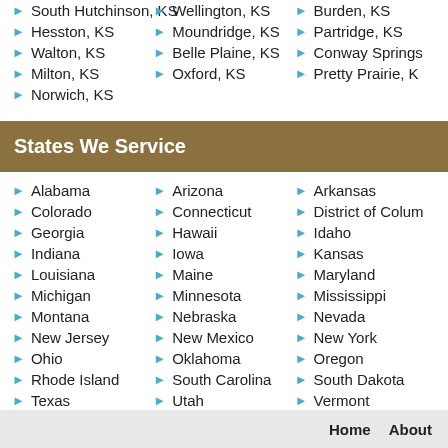South Hutchinson, KS
Wellington, KS
Burden, KS
Hesston, KS
Moundridge, KS
Partridge, KS
Walton, KS
Belle Plaine, KS
Conway Springs
Milton, KS
Oxford, KS
Pretty Prairie, K
Norwich, KS
States We Service
Alabama
Arizona
Arkansas
Colorado
Connecticut
District of Colum
Georgia
Hawaii
Idaho
Indiana
Iowa
Kansas
Louisiana
Maine
Maryland
Michigan
Minnesota
Mississippi
Montana
Nebraska
Nevada
New Jersey
New Mexico
New York
Ohio
Oklahoma
Oregon
Rhode Island
South Carolina
South Dakota
Texas
Utah
Vermont
Washington
West Virginia
Wisconsin
Home   About